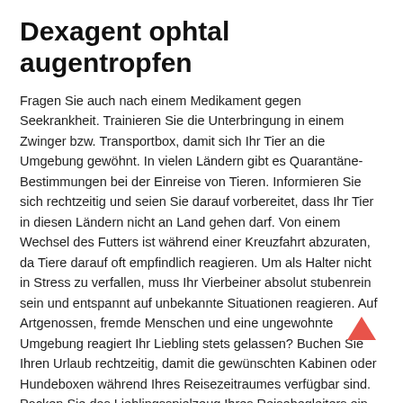Dexagent ophtal augentropfen
Fragen Sie auch nach einem Medikament gegen Seekrankheit. Trainieren Sie die Unterbringung in einem Zwinger bzw. Transportbox, damit sich Ihr Tier an die Umgebung gewöhnt. In vielen Ländern gibt es Quarantäne-Bestimmungen bei der Einreise von Tieren. Informieren Sie sich rechtzeitig und seien Sie darauf vorbereitet, dass Ihr Tier in diesen Ländern nicht an Land gehen darf. Von einem Wechsel des Futters ist während einer Kreuzfahrt abzuraten, da Tiere darauf oft empfindlich reagieren. Um als Halter nicht in Stress zu verfallen, muss Ihr Vierbeiner absolut stubenrein sein und entspannt auf unbekannte Situationen reagieren. Auf Artgenossen, fremde Menschen und eine ungewohnte Umgebung reagiert Ihr Liebling stets gelassen? Buchen Sie Ihren Urlaub rechtzeitig, damit die gewünschten Kabinen oder Hundeboxen während Ihres Reisezeitraumes verfügbar sind. Packen Sie das Lieblingsspielzeug Ihres Reisebegleiters ein und gönnen Sie ihm auf See lange Spielzeiten. Nutzen Sie die Landgänge für ausgedehnte Spaziergänge, bei denen Ihr Hund ausgelassen toben und rennen darf.
Viegra für frauen deutschland